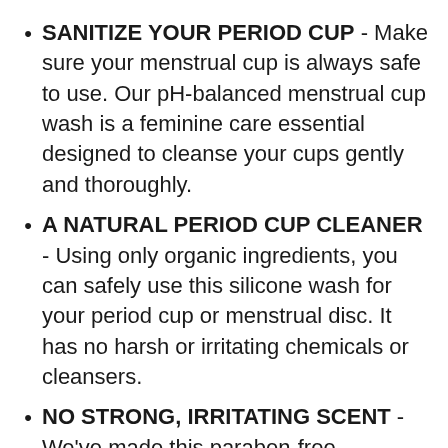SANITIZE YOUR PERIOD CUP - Make sure your menstrual cup is always safe to use. Our pH-balanced menstrual cup wash is a feminine care essential designed to cleanse your cups gently and thoroughly.
A NATURAL PERIOD CUP CLEANER - Using only organic ingredients, you can safely use this silicone wash for your period cup or menstrual disc. It has no harsh or irritating chemicals or cleansers.
NO STRONG, IRRITATING SCENT - We've made this paraben-free menstrual cup cleaner unscented so you can stay fresh without dealing with strong scents or odors. Zero perfume or fragrance oils used!